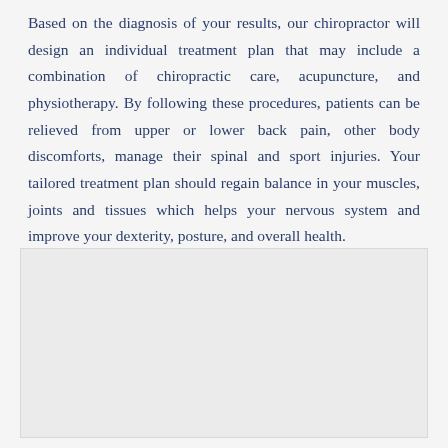Based on the diagnosis of your results, our chiropractor will design an individual treatment plan that may include a combination of chiropractic care, acupuncture, and physiotherapy. By following these procedures, patients can be relieved from upper or lower back pain, other body discomforts, manage their spinal and sport injuries. Your tailored treatment plan should regain balance in your muscles, joints and tissues which helps your nervous system and improve your dexterity, posture, and overall health.
[Figure (photo): Empty light gray image placeholder box]